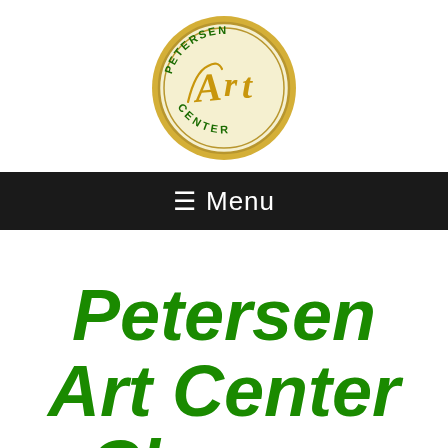[Figure (logo): Petersen Art Center circular logo with gold border, green text reading PETERSEN and CENTER, and stylized Art lettering in gold on cream background]
≡ Menu
Petersen Art Center Classes